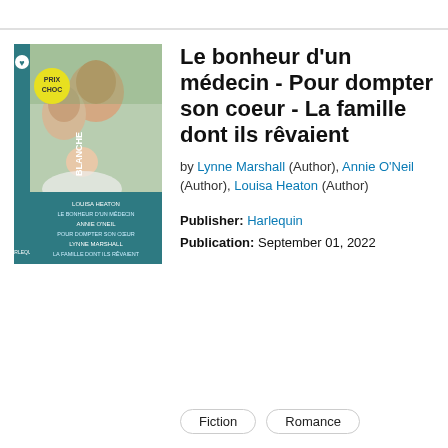[Figure (illustration): Book cover for 'Le bonheur d'un médecin - Pour dompter son coeur - La famille dont ils rêvaient'. Teal/dark green spine labeled BLANCHE with Harlequin logo. Cover photo shows a man and woman smiling down at a baby. Yellow circle badge reads PRIX CHOC. Authors listed on cover: Louisa Heaton, Annie O'Neil, Lynne Marshall.]
Le bonheur d'un médecin - Pour dompter son coeur - La famille dont ils rêvaient
by Lynne Marshall (Author), Annie O'Neil (Author), Louisa Heaton (Author)
Publisher: Harlequin
Publication: September 01, 2022
Fiction
Romance